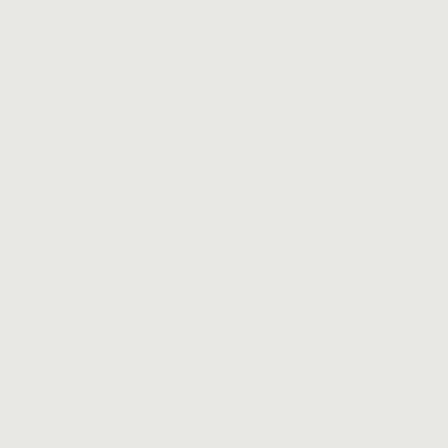Peza do Rei Mencia (2012) - (100% Mencia that w... mineral-laced aromas of dark berries and cherry-cola. boysenberry flavors that turn sweeter with air. Finishe...
Peza do Rei Mencia (2011) - "This opaque and dark raspberry bouquet with a hint of old oak. On the palat easy to drink. The flavor profile is a mild oak infused finish is dry and its mild tannins and flavors linger ni grape, this wine is a nice one to introduce you to the g beer barbecue sauce. Enjoy."
Peza do Rei Mencia (2011) - "Bright purple. Spicy, and cracked pepper nuances and a hint of cola. Juicy, edge and gain sweetness with air. Closes with firm ta notes behind."